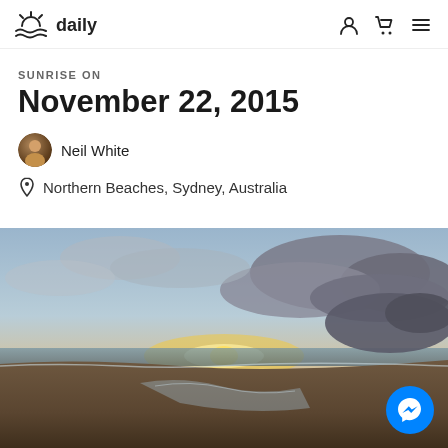sunrise daily
SUNRISE ON
November 22, 2015
Neil White
Northern Beaches, Sydney, Australia
[Figure (photo): Sunrise photo of a beach at Northern Beaches, Sydney, Australia. The sky has clouds with orange and blue hues near the horizon. The beach shows wet sand with water reflections near the shoreline.]